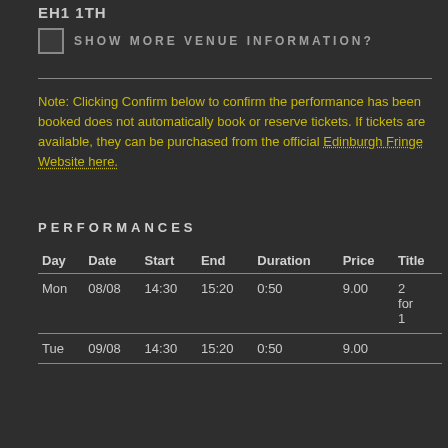EH1 1TH
SHOW MORE VENUE INFORMATION?
Note: Clicking Confirm below to confirm the performance has been booked does not automatically book or reserve tickets. If tickets are available, they can be purchased from the official Edinburgh Fringe Website here.
PERFORMANCES
| Day | Date | Start | End | Duration | Price | Title |
| --- | --- | --- | --- | --- | --- | --- |
| Mon | 08/08 | 14:30 | 15:20 | 0:50 | 9.00 | 2 for 1 |
| Tue | 09/08 | 14:30 | 15:20 | 0:50 | 9.00 |  |